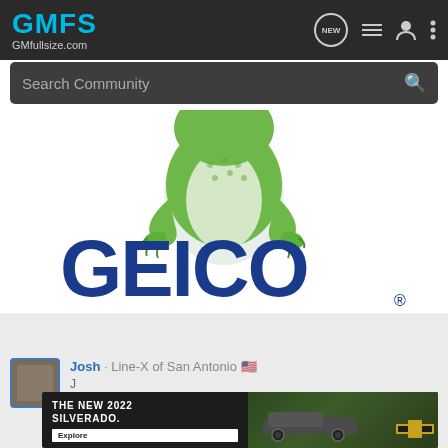GMFS GMfullsize.com
Search Community
[Figure (advertisement): GEICO insurance advertisement featuring the GEICO gecko mascot (green lizard) leaning over the large blue GEICO logo with registered trademark symbol, with a GET QUOTE button below]
Josh · Line-X of San Antonio 🇺🇸
[Figure (advertisement): Chevrolet advertisement: THE NEW 2022 SILVERADO. with Explore button and a dark photo of a Silverado truck with Chevrolet bowtie logo]